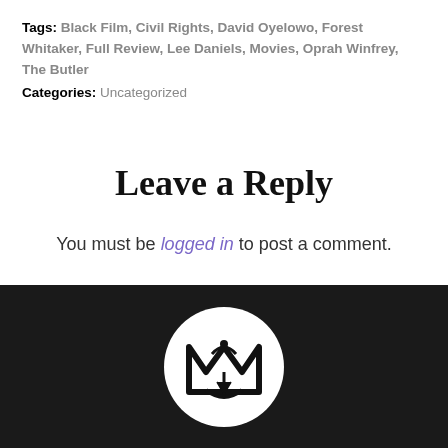Tags: Black Film, Civil Rights, David Oyelowo, Forest Whitaker, Full Review, Lee Daniels, Movies, Oprah Winfrey, The Butler
Categories: Uncategorized
Leave a Reply
You must be logged in to post a comment.
[Figure (logo): White circular logo with stylized M and pen nib icon on dark background]